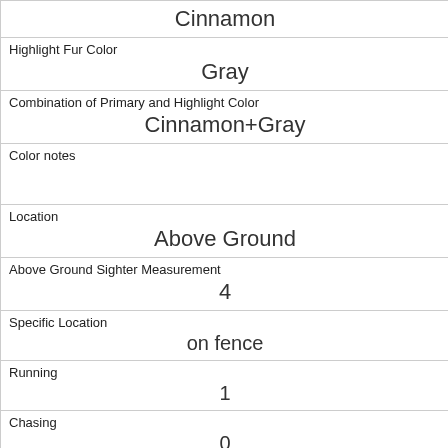| Highlight Fur Color | Gray |
| Combination of Primary and Highlight Color | Cinnamon+Gray |
| Color notes |  |
| Location | Above Ground |
| Above Ground Sighter Measurement | 4 |
| Specific Location | on fence |
| Running | 1 |
| Chasing | 0 |
| Climbing | 0 |
| Eating | 0 |